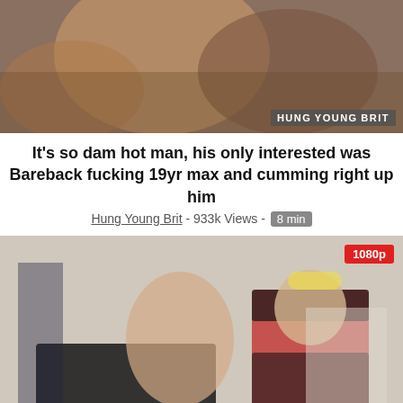[Figure (photo): Thumbnail image with watermark reading HUNG-YOUNG-BRIT in bottom right corner]
It’s so dam hot man, his only interested was Bareback fucking 19yr max and cumming right up him
Hung Young Brit - 933k Views - 8 min
[Figure (photo): Photo of a barber cutting a seated man’s hair, barber wears red and black outfit, 1080p badge in top right]
Sorrei the Arm on Barbeia’s Stick